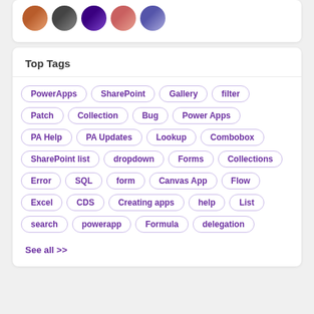[Figure (photo): Row of five circular avatar/profile photos of community members]
Top Tags
PowerApps
SharePoint
Gallery
filter
Patch
Collection
Bug
Power Apps
PA Help
PA Updates
Lookup
Combobox
SharePoint list
dropdown
Forms
Collections
Error
SQL
form
Canvas App
Flow
Excel
CDS
Creating apps
help
List
search
powerapp
Formula
delegation
See all >>